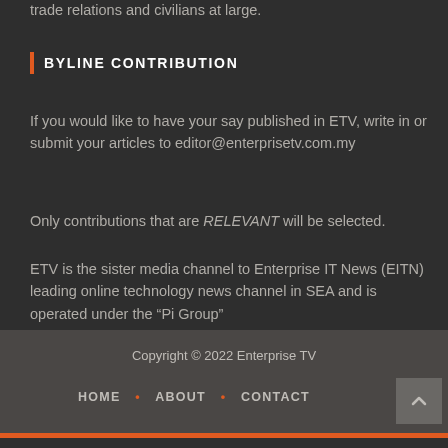trade relations and civilians at large.
BYLINE CONTRIBUTION
If you would like to have your say published in ETV, write in or submit your articles to editor@enterprisetv.com.my
Only contributions that are RELEVANT will be selected.
ETV is the sister media channel to Enterprise IT News (EITN) leading online technology news channel in SEA and is operated under the “Pi Group”
Copyright © 2022 Enterprise TV
HOME • ABOUT • CONTACT